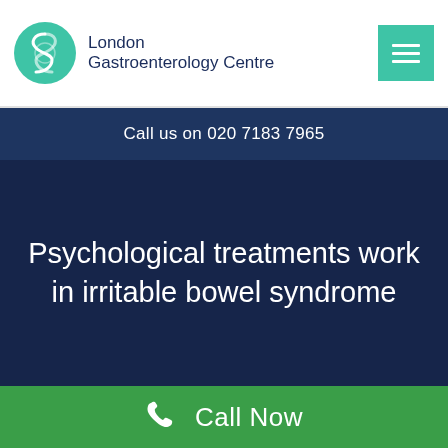[Figure (logo): London Gastroenterology Centre logo with teal circular icon containing stylized digestive tract symbol and organization name text]
Call us on 020 7183 7965
Psychological treatments work in irritable bowel syndrome
Call Now